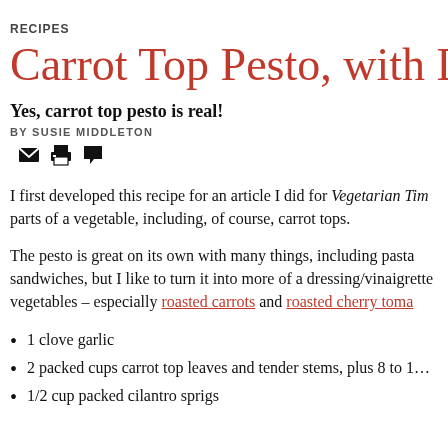RECIPES
Carrot Top Pesto, with Dressi
Yes, carrot top pesto is real!
BY SUSIE MIDDLETON
[Figure (infographic): Email, print, and comment icon buttons]
I first developed this recipe for an article I did for Vegetarian Tim… parts of a vegetable, including, of course, carrot tops.
The pesto is great on its own with many things, including pasta sandwiches, but I like to turn it into more of a dressing/vinaigrette for vegetables – especially roasted carrots and roasted cherry toma…
1 clove garlic
2 packed cups carrot top leaves and tender stems, plus 8 to 1…
1/2 cup packed cilantro sprigs
1/2 cup … tablespoons … toasted…